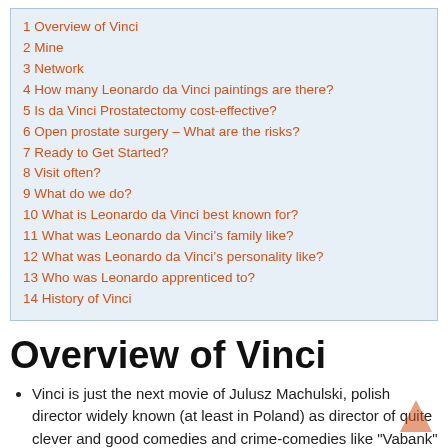1 Overview of Vinci
2 Mine
3 Network
4 How many Leonardo da Vinci paintings are there?
5 Is da Vinci Prostatectomy cost-effective?
6 Open prostate surgery – What are the risks?
7 Ready to Get Started?
8 Visit often?
9 What do we do?
10 What is Leonardo da Vinci best known for?
11 What was Leonardo da Vinci's family like?
12 What was Leonardo da Vinci's personality like?
13 Who was Leonardo apprenticed to?
14 History of Vinci
Overview of Vinci
Vinci is just the next movie of Julusz Machulski, polish director widely known (at least in Poland) as director of quite clever and good comedies and crime-comedies like "Vabank" or "Kiler" (which was best-selling